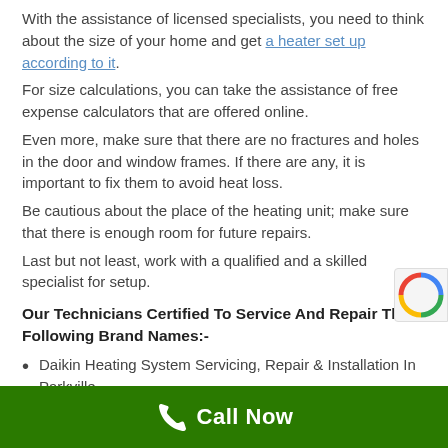With the assistance of licensed specialists, you need to think about the size of your home and get a heater set up according to it.
For size calculations, you can take the assistance of free expense calculators that are offered online.
Even more, make sure that there are no fractures and holes in the door and window frames. If there are any, it is important to fix them to avoid heat loss.
Be cautious about the place of the heating unit; make sure that there is enough room for future repairs.
Last but not least, work with a qualified and a skilled specialist for setup.
Our Technicians Certified To Service And Repair The Following Brand Names:-
Daikin Heating System Servicing, Repair & Installation In Parkville
Call Now